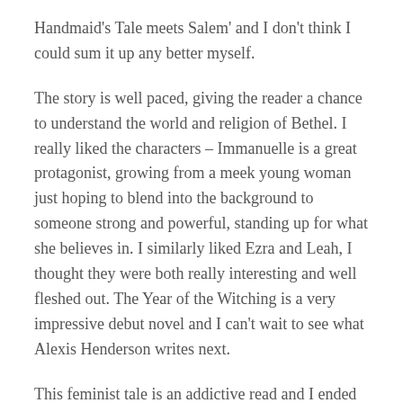Handmaid's Tale meets Salem' and I don't think I could sum it up any better myself.
The story is well paced, giving the reader a chance to understand the world and religion of Bethel. I really liked the characters – Immanuelle is a great protagonist, growing from a meek young woman just hoping to blend into the background to someone strong and powerful, standing up for what she believes in. I similarly liked Ezra and Leah, I thought they were both really interesting and well fleshed out. The Year of the Witching is a very impressive debut novel and I can't wait to see what Alexis Henderson writes next.
This feminist tale is an addictive read and I ended up reading it in a single day. I particularly loved the dark horror moments in the Darkwood, when Immanuelle comes face to face with the legendary witches. This is a brilliantly captivating tale and one I would highly recommend. The Year of the Witching will have